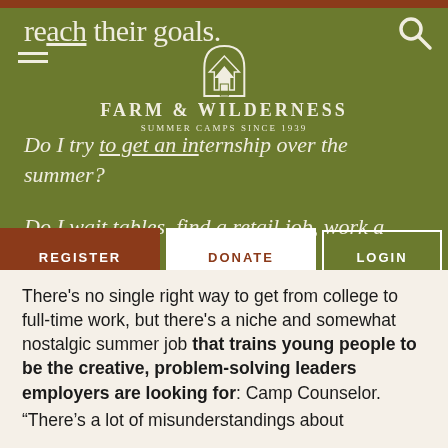reach their goals.
[Figure (logo): Farm & Wilderness Summer Camps Since 1939 logo with illustrated cabin/tent icon]
Do I try to get an internship over the summer?
Do I wait tables, find a retail job, work a desk job, or something other?
REGISTER
DONATE
LOGIN
There's no single right way to get from college to full-time work, but there's a niche and somewhat nostalgic summer job that trains young people to be the creative, problem-solving leaders employers are looking for: Camp Counselor.
“There’s a lot of misunderstandings about camp,”